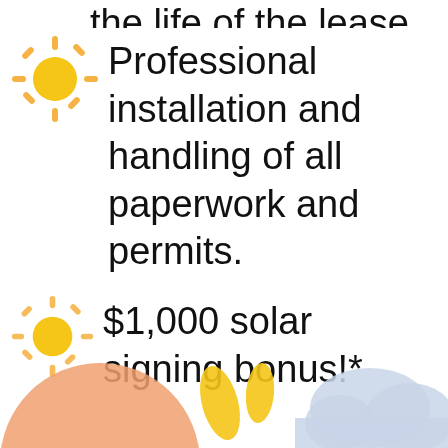the life of the lease.
Professional installation and handling of all paperwork and permits.
$1,000 solar signing bonus!*
[Figure (illustration): Decorative illustration at the bottom showing a partial sun with orange/peach glow, yellow ray shapes, and a light blue-grey cloud on white background.]